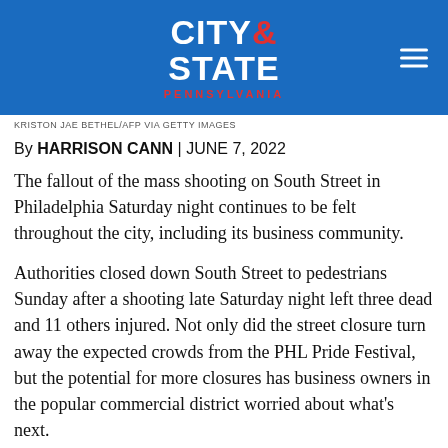[Figure (logo): City & State Pennsylvania logo on blue background with hamburger menu icon]
KRISTON JAE BETHEL/AFP VIA GETTY IMAGES
By HARRISON CANN | JUNE 7, 2022
The fallout of the mass shooting on South Street in Philadelphia Saturday night continues to be felt throughout the city, including its business community.
Authorities closed down South Street to pedestrians Sunday after a shooting late Saturday night left three dead and 11 others injured. Not only did the street closure turn away the expected crowds from the PHL Pride Festival, but the potential for more closures has business owners in the popular commercial district worried about what's next.